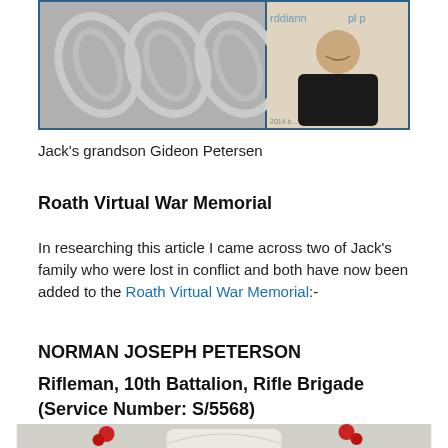[Figure (photo): Top composite photo: left side shows metallic sculptural artwork (propeller-like forms), right side shows a smiling man in black clothing at an event with text 'rddiann' and 'pl p' visible in background.]
Jack's grandson Gideon Petersen
Roath Virtual War Memorial
In researching this article I came across two of Jack's family who were lost in conflict and both have now been added to the Roath Virtual War Memorial:-
NORMAN JOSEPH PETERSON
Rifleman, 10th Battalion, Rifle Brigade (Service Number: S/5568)
[Figure (photo): A white military gravestone with red flowers/poppies placed on either side, with a carved emblem visible on the stone face.]